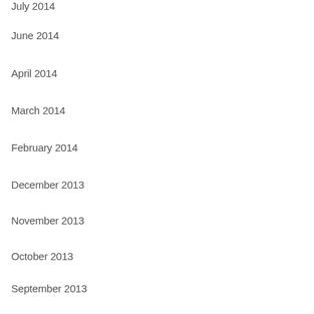July 2014
June 2014
April 2014
March 2014
February 2014
December 2013
November 2013
October 2013
September 2013
August 2013